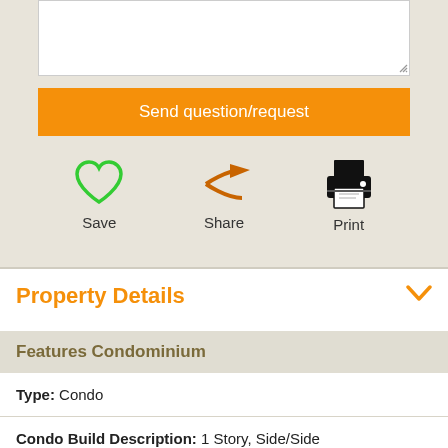[Figure (screenshot): Text area input box for questions/requests]
Send question/request
[Figure (infographic): Three action buttons: Save (green heart icon), Share (orange arrow icon), Print (printer icon)]
Property Details
Features Condominium
Type:  Condo
Condo Build Description:  1 Story, Side/Side